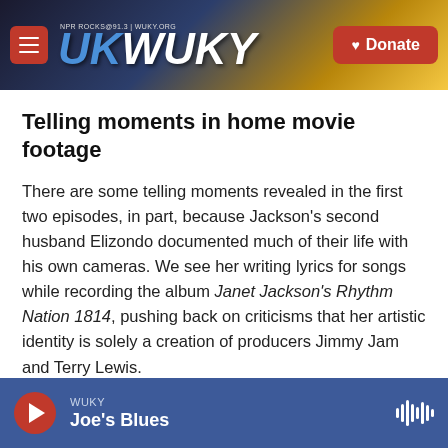WUKY NPR ROCKS @ 91.3 | WUKY.ORG — Donate
Telling moments in home movie footage
There are some telling moments revealed in the first two episodes, in part, because Jackson's second husband Elizondo documented much of their life with his own cameras. We see her writing lyrics for songs while recording the album Janet Jackson's Rhythm Nation 1814, pushing back on criticisms that her artistic identity is solely a creation of producers Jimmy Jam and Terry Lewis.
Another scene, where Jimmy Jam gets into an
WUKY — Joe's Blues